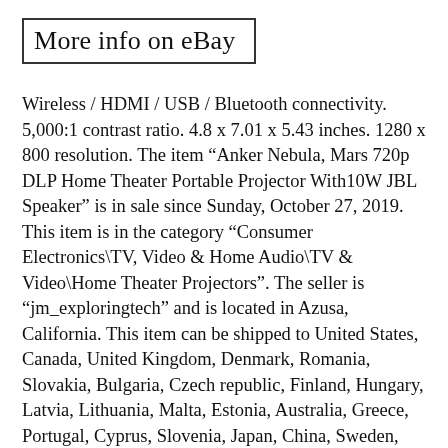More info on eBay
Wireless / HDMI / USB / Bluetooth connectivity. 5,000:1 contrast ratio. 4.8 x 7.01 x 5.43 inches. 1280 x 800 resolution. The item “Anker Nebula, Mars 720p DLP Home Theater Portable Projector With10W JBL Speaker” is in sale since Sunday, October 27, 2019. This item is in the category “Consumer Electronics\TV, Video & Home Audio\TV & Video\Home Theater Projectors”. The seller is “jm_exploringtech” and is located in Azusa, California. This item can be shipped to United States, Canada, United Kingdom, Denmark, Romania, Slovakia, Bulgaria, Czech republic, Finland, Hungary, Latvia, Lithuania, Malta, Estonia, Australia, Greece, Portugal, Cyprus, Slovenia, Japan, China, Sweden, South Korea, Indonesia, Taiwan, South africa, Belgium, France, Hong Kong, Ireland, Netherlands, Poland, Austria, Germany, Luxembourg, Belgium,